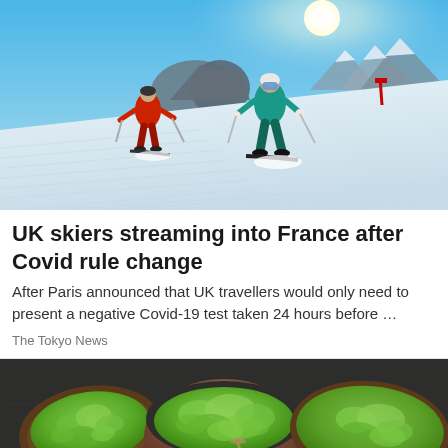[Figure (photo): Two skiers on a groomed snowy slope under a bright blue sunny sky with mountains in the background. One skier in red, one in teal/turquoise outfit.]
UK skiers streaming into France after Covid rule change
After Paris announced that UK travellers would only need to present a negative Covid-19 test taken 24 hours before …
The Tokyo News
[Figure (photo): Overhead view of avocado toast on dark bread and a bowl of mashed avocado/guacamole on a dark slate background.]